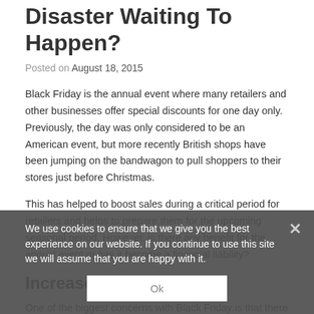Financial Columns On A Disaster Waiting To Happen?
Posted on August 18, 2015
Black Friday is the annual event where many retailers and other businesses offer special discounts for one day only. Previously, the day was only considered to be an American event, but more recently British shops have been jumping on the bandwagon to pull shoppers to their stores just before Christmas.
This has helped to boost sales during a critical period for retailers and helps to prepare them for the upcoming seasonal period. However, is there any benefit for the annual event or has it become a financial liability?
Increase In Costs
One of the biggest concerns with Black Friday is that there are often costs when it comes to advertising the event.  In 2014,
We use cookies to ensure that we give you the best experience on our website. If you continue to use this site we will assume that you are happy with it.